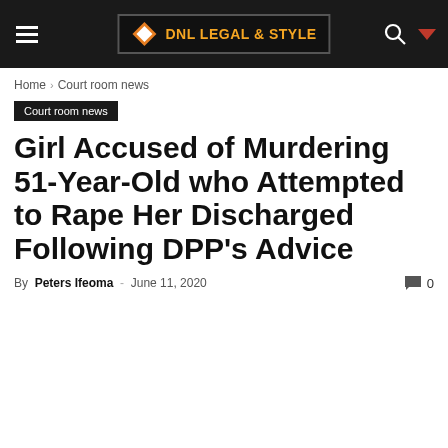DNL LEGAL & STYLE
Home › Court room news
Court room news
Girl Accused of Murdering 51-Year-Old who Attempted to Rape Her Discharged Following DPP's Advice
By Peters Ifeoma - June 11, 2020  0